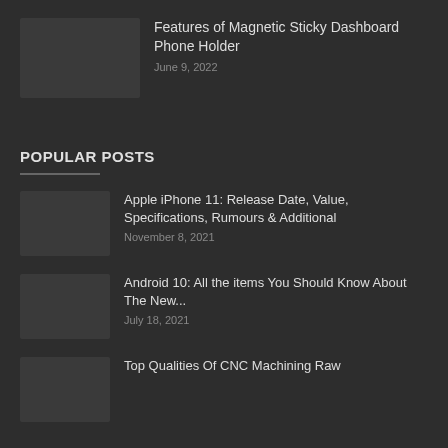Features of Magnetic Sticky Dashboard Phone Holder
June 9, 2022
POPULAR POSTS
Apple iPhone 11: Release Date, Value, Specifications, Rumours & Additional
November 8, 2021
Android 10: All the items You Should Know About The New...
July 18, 2021
Top Qualities Of CNC Machining Raw